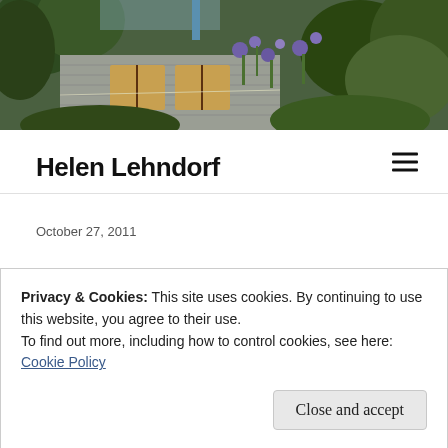[Figure (photo): Header photo of a house with garden, green trees, purple flowering plants and shrubs in front of a grey wooden building with windows, blue chimney visible, outdoor daylight scene.]
Helen Lehndorf
October 27, 2011
Privacy & Cookies: This site uses cookies. By continuing to use this website, you agree to their use.
To find out more, including how to control cookies, see here: Cookie Policy
Close and accept